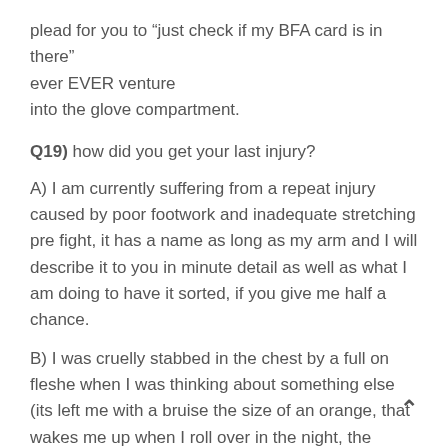plead for you to “just check if my BFA card is in there” ever EVER venture into the glove compartment.
Q19) how did you get your last injury?
A) I am currently suffering from a repeat injury caused by poor footwork and inadequate stretching pre fight, it has a name as long as my arm and I will describe it to you in minute detail as well as what I am doing to have it sorted, if you give me half a chance.
B) I was cruelly stabbed in the chest by a full on fleshe when I was thinking about something else (its left me with a bruise the size of an orange, that wakes me up when I roll over in the night, the SWINE!!)